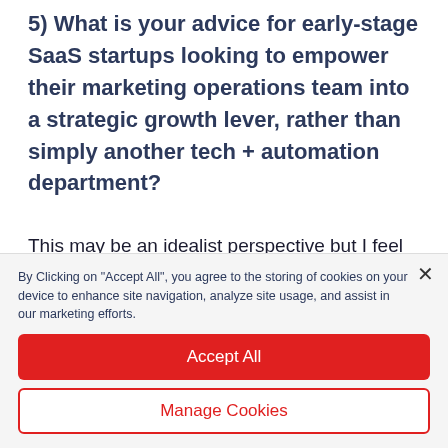5) What is your advice for early-stage SaaS startups looking to empower their marketing operations team into a strategic growth lever, rather than simply another tech + automation department?
This may be an idealist perspective but I feel you need a marketer first. Onboarding a highly-specialised marketer-operator is great, but they're likely to optimize...
By Clicking on "Accept All", you agree to the storing of cookies on your device to enhance site navigation, analyze site usage, and assist in our marketing efforts.
Accept All
Manage Cookies